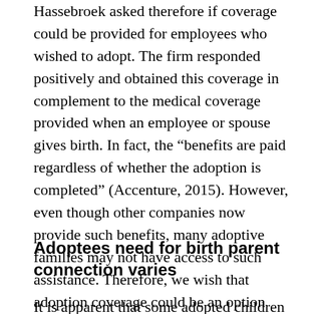Hassebroek asked therefore if coverage could be provided for employees who wished to adopt. The firm responded positively and obtained this coverage in complement to the medical coverage provided when an employee or spouse gives birth. In fact, the “benefits are paid regardless of whether the adoption is completed” (Accenture, 2015). However, even though other companies now provide such benefits, many adoptive families may not have access to such assistance. Therefore, we wish that adoption coverage could be an option under all new healthcare policies.
Adoptees need for birth parent connection varies
It is apparent that some adopted children